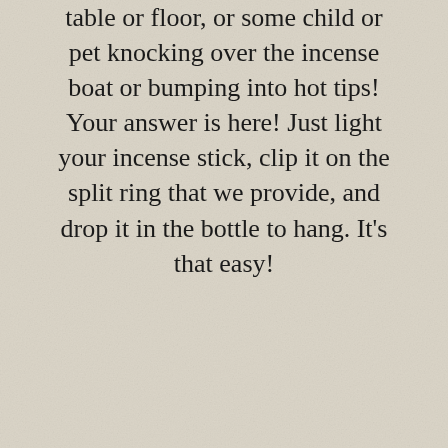table or floor, or some child or pet knocking over the incense boat or bumping into hot tips! Your answer is here! Just light your incense stick, clip it on the split ring that we provide, and drop it in the bottle to hang. It's that easy!